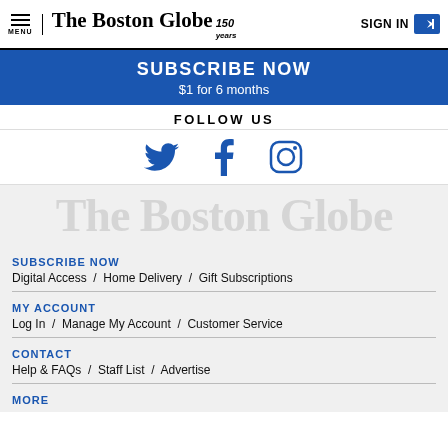The Boston Globe / 150 years | SIGN IN
[Figure (screenshot): Blue subscribe banner with text SUBSCRIBE NOW $1 for 6 months]
FOLLOW US
[Figure (illustration): Twitter, Facebook, and Instagram social media icons in blue]
[Figure (logo): The Boston Globe watermark logo in light gray]
SUBSCRIBE NOW
Digital Access / Home Delivery / Gift Subscriptions
MY ACCOUNT
Log In / Manage My Account / Customer Service
CONTACT
Help & FAQs / Staff List / Advertise
MORE